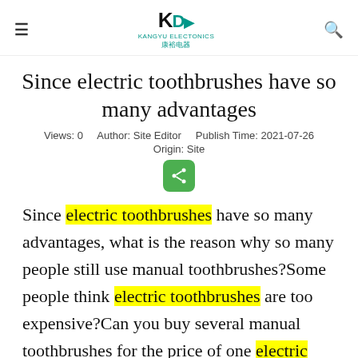≡  KANGYU ELECTONICS 康裕电器  🔍
Since electric toothbrushes have so many advantages
Views: 0   Author: Site Editor   Publish Time: 2021-07-26
Origin: Site
[Figure (other): Green share button with share icon]
Since electric toothbrushes have so many advantages, what is the reason why so many people still use manual toothbrushes?Some people think electric toothbrushes are too expensive?Can you buy several manual toothbrushes for the price of one electric toothbrush?2. Some people think it